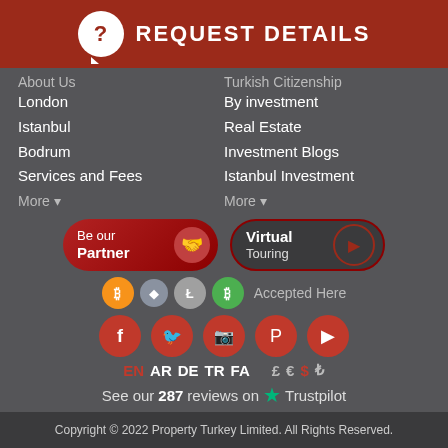REQUEST DETAILS
About Us
London
Istanbul
Bodrum
Services and Fees
More
Turkish Citizenship
By investment
Real Estate
Investment Blogs
Istanbul Investment
More
[Figure (logo): Be our Partner button with handshake icon]
[Figure (logo): Virtual Touring button with play icon]
[Figure (infographic): Cryptocurrency icons: Bitcoin, Ethereum, Litecoin, Bitcoin Cash - Accepted Here]
[Figure (infographic): Social media icons: Facebook, Twitter, Instagram, Pinterest, YouTube]
EN AR DE TR FA   £ € $ ₺
See our 287 reviews on Trustpilot
Copyright © 2022 Property Turkey Limited. All Rights Reserved.